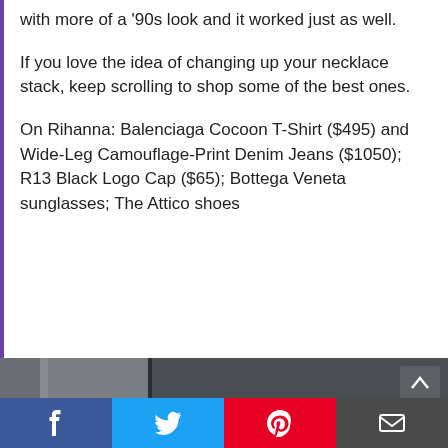with more of a '90s look and it worked just as well.
If you love the idea of changing up your necklace stack, keep scrolling to shop some of the best ones.
On Rihanna: Balenciaga Cocoon T-Shirt ($495) and Wide-Leg Camouflage-Print Denim Jeans ($1050); R13 Black Logo Cap ($65); Bottega Veneta sunglasses; The Attico shoes
[Figure (photo): Photo of a person wearing a black R13 logo cap with white sunglasses, photographed from below against a dark grey architectural background.]